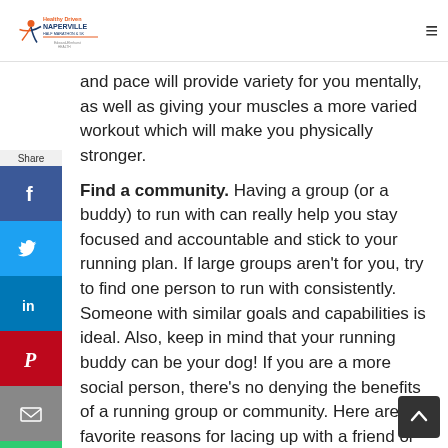Healthy Driven Naperville Half Marathon & 5K — Edward-Elmhurst Health
and pace will provide variety for you mentally, as well as giving your muscles a more varied workout which will make you physically stronger.
Find a community. Having a group (or a buddy) to run with can really help you stay focused and accountable and stick to your running plan. If large groups aren't for you, try to find one person to run with consistently. Someone with similar goals and capabilities is ideal. Also, keep in mind that your running buddy can be your dog! If you are a more social person, there's no denying the benefits of a running group or community. Here are my favorite reasons for lacing up with a friend or friends instead